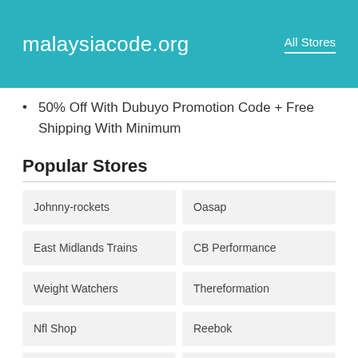malaysiacode.org   All Stores
50% Off With Dubuyo Promotion Code + Free Shipping With Minimum
Popular Stores
| Johnny-rockets | Oasap |
| East Midlands Trains | CB Performance |
| Weight Watchers | Thereformation |
| Nfl Shop | Reebok |
| Worldvapor.com | Metsker Maps |
| Bella Luna Toys | Asda Mobile |